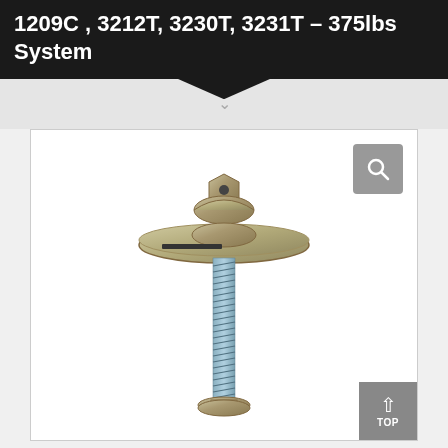1209C , 3212T, 3230T, 3231T – 375lbs System
[Figure (photo): Close-up photograph of a metal mounting hardware component consisting of a flanged base plate with a bolt and nut assembly. The component appears to be zinc or nickel plated steel, showing a flat oval/rectangular base plate with a raised dome center and a threaded bolt extending downward.]